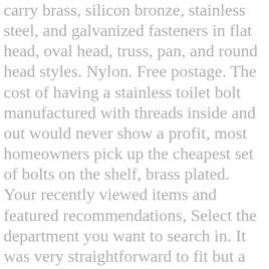carry brass, silicon bronze, stainless steel, and galvanized fasteners in flat head, oval head, truss, pan, and round head styles. Nylon. Free postage. The cost of having a stainless toilet bolt manufactured with threads inside and out would never show a profit, most homeowners pick up the cheapest set of bolts on the shelf, brass plated. Your recently viewed items and featured recommendations, Select the department you want to search in. It was very straightforward to fit but a bit fiddly trying to get the washers and spacers (think that's what they are?) In the market, most taps are made of brass with stainless steel coated finishes. 2003. see all. My working theory is that at some point in time the steel bolt was put in during a tank repair. But it's yet again another thing to think about when doing your household repairs. Now Only: $318. at the best online prices at ... The stainless steel nuts and washers are also included for complete replacement of all old hardware